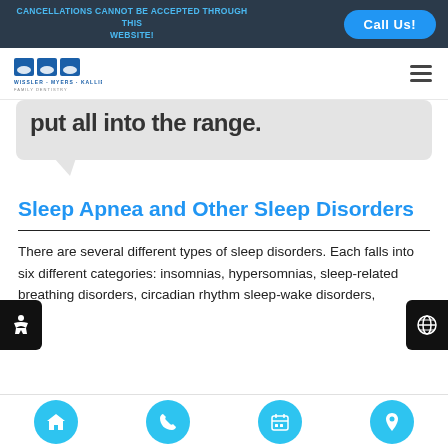CANCELLATIONS CANNOT BE ACCEPTED THROUGH THIS WEBSITE!
[Figure (logo): Wissler Myers Kallies Family Dentistry logo]
put all into the range.
Sleep Apnea and Other Sleep Disorders
There are several different types of sleep disorders. Each falls into six different categories: insomnias, hypersomnias, sleep-related breathing disorders, circadian rhythm sleep-wake disorders,